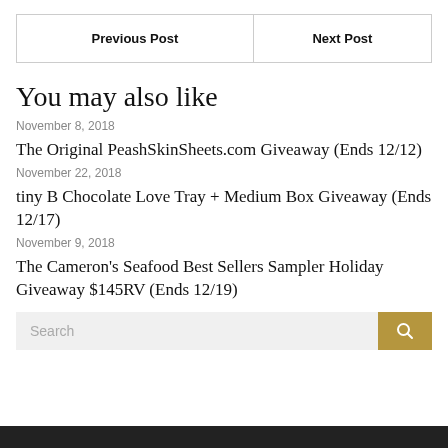| Previous Post | Next Post |
| --- | --- |
You may also like
November 8, 2018
The Original PeashSkinSheets.com Giveaway (Ends 12/12)
November 22, 2018
tiny B Chocolate Love Tray + Medium Box Giveaway (Ends 12/17)
November 9, 2018
The Cameron’s Seafood Best Sellers Sampler Holiday Giveaway $145RV (Ends 12/19)